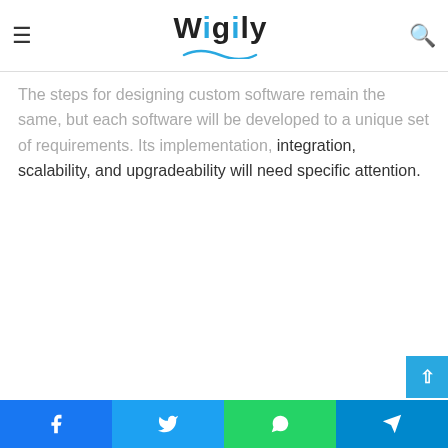Wigily
The steps for designing custom software remain the same, but each software will be developed to a unique set of requirements. Its implementation, integration, scalability, and upgradeability will need specific attention.
Facebook | Twitter | WhatsApp | Telegram